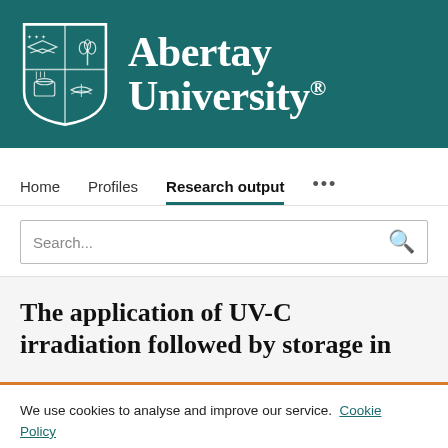[Figure (logo): Abertay University logo with shield crest and university name in white on teal background]
Home   Profiles   Research output   ...
Search...
The application of UV-C irradiation followed by storage in
We use cookies to analyse and improve our service. Cookie Policy